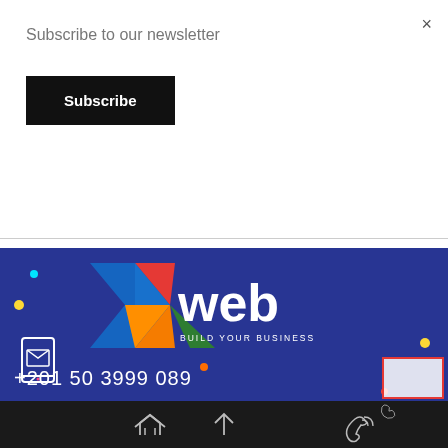×
Subscribe to our newsletter
Subscribe
[Figure (logo): Xweb Build Your Business logo on dark blue background with colorful X icon (blue, red, orange, green segments) and decorative colored dots]
+201 50 3999 089
[Figure (infographic): Bottom navigation bar with home icon, up arrow icon, and phone/contact icon on dark background]